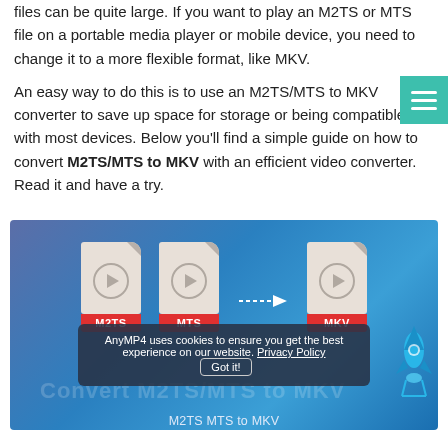files can be quite large. If you want to play an M2TS or MTS file on a portable media player or mobile device, you need to change it to a more flexible format, like MKV.

An easy way to do this is to use an M2TS/MTS to MKV converter to save up space for storage or being compatible with most devices. Below you'll find a simple guide on how to convert M2TS/MTS to MKV with an efficient video converter. Read it and have a try.
[Figure (illustration): Illustration showing two file icons labeled M2TS and MTS with a dashed arrow pointing to a file icon labeled MKV, on a blue gradient background. A cookie consent banner overlays the lower portion. Caption reads: M2TS MTS to MKV.]
M2TS MTS to MKV